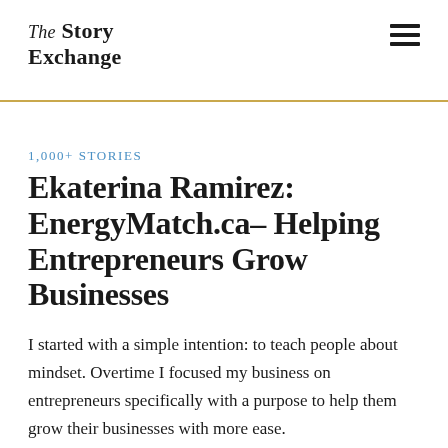The Story Exchange
1,000+ STORIES
Ekaterina Ramirez: EnergyMatch.ca– Helping Entrepreneurs Grow Businesses
I started with a simple intention: to teach people about mindset. Overtime I focused my business on entrepreneurs specifically with a purpose to help them grow their businesses with more ease.
August 22, 2013